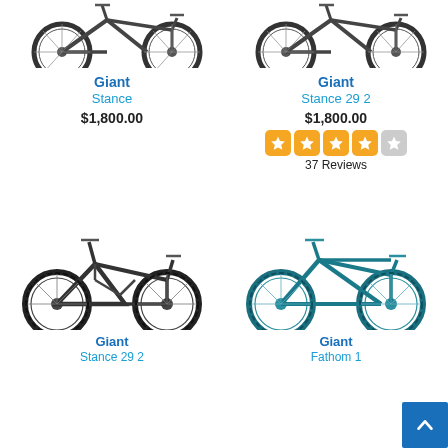[Figure (photo): Giant Stance mountain bike top-cropped photo, left column]
[Figure (photo): Giant Stance 29 2 mountain bike top-cropped photo, right column]
Giant
Stance
$1,800.00
Giant
Stance 29 2
$1,800.00
[Figure (other): 4-star rating display (4 orange stars, 1 grey star)]
37 Reviews
[Figure (photo): Giant Stance 29 2 full suspension mountain bike, dark color, bottom left]
[Figure (photo): Giant Fathom 1 hardtail mountain bike, teal color, bottom right]
Giant
Stance 29 2
Giant
Fathom 1